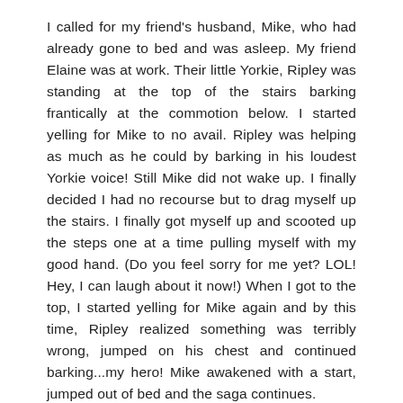I called for my friend's husband, Mike, who had already gone to bed and was asleep. My friend Elaine was at work. Their little Yorkie, Ripley was standing at the top of the stairs barking frantically at the commotion below. I started yelling for Mike to no avail. Ripley was helping as much as he could by barking in his loudest Yorkie voice! Still Mike did not wake up. I finally decided I had no recourse but to drag myself up the stairs. I finally got myself up and scooted up the steps one at a time pulling myself with my good hand. (Do you feel sorry for me yet? LOL! Hey, I can laugh about it now!) When I got to the top, I started yelling for Mike again and by this time, Ripley realized something was terribly wrong, jumped on his chest and continued barking...my hero! Mike awakened with a start, jumped out of bed and the saga continues.
We called another sweet friend, Lin, who came in the